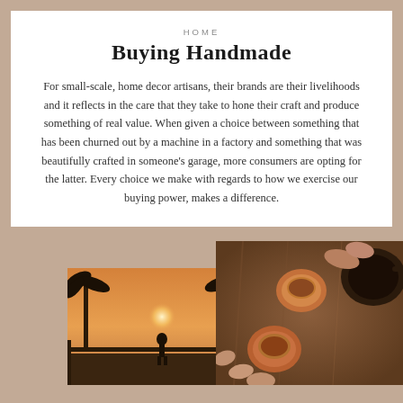HOME
Buying Handmade
For small-scale, home decor artisans, their brands are their livelihoods and it reflects in the care that they take to hone their craft and produce something of real value. When given a choice between something that has been churned out by a machine in a factory and something that was beautifully crafted in someone's garage, more consumers are opting for the latter. Every choice we make with regards to how we exercise our buying power, makes a difference.
[Figure (photo): Person silhouetted against sunset with palm trees, standing at a railing]
[Figure (photo): Overhead view of hands holding tea cups with teapot on wooden tray]